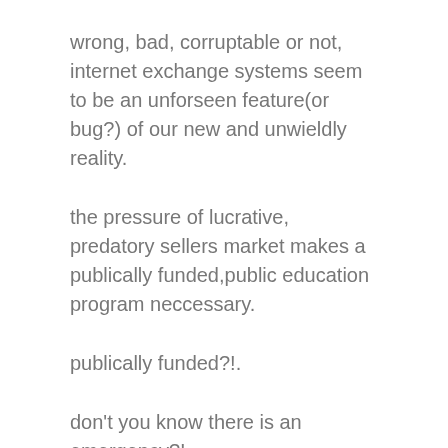wrong, bad, corruptable or not, internet exchange systems seem to be an unforseen feature(or bug?) of our new and unwieldly reality.
the pressure of lucrative, predatory sellers market makes a publically funded,public education program neccessary.
publically funded?!.
don't you know there is an emergency?!
leave it to the market.
after all, government interfering in business activities is bad for the economy.